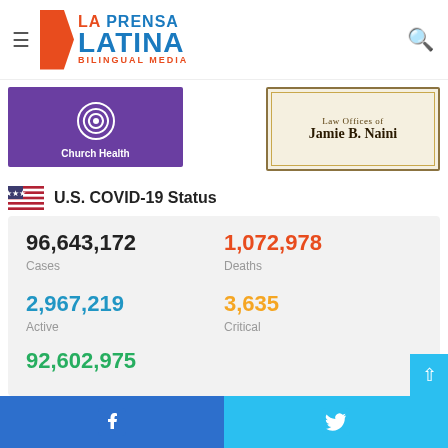[Figure (logo): La Prensa Latina Bilingual Media logo with hamburger menu and search icon]
[Figure (photo): Church Health advertisement - purple background with spiral logo]
[Figure (photo): Law Offices of Jamie B. Naini advertisement]
U.S. COVID-19 Status
96,643,172 Cases | 1,072,978 Deaths | 2,967,219 Active | 3,635 Critical | 92,602,975 Recovered
Facebook share | Twitter share